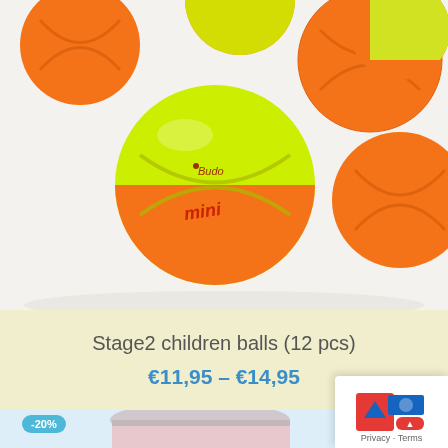[Figure (photo): Product photo of orange and yellow mini tennis balls (Stage 2 children balls) on a light background. Several balls visible, partially cropped at top.]
Stage2 children balls (12 pcs)
€11,95 – €14,95
[Figure (photo): Product photo of a pink cylindrical container (tennis ball canister) on a light blue background, partially visible at bottom. A -20% discount badge is shown in the upper left.]